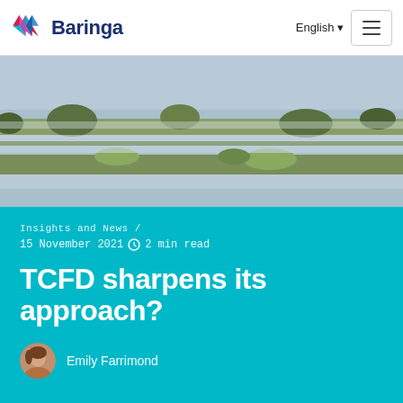[Figure (logo): Baringa logo with colorful geometric diamond/triangle pattern and dark blue 'Baringa' wordmark]
[Figure (photo): Aerial view of flooded landscape with trees and fields partially submerged in water, muted blue and brown tones]
Insights and News /
15 November 2021  2 min read
TCFD sharpens its approach?
Emily Farrimond